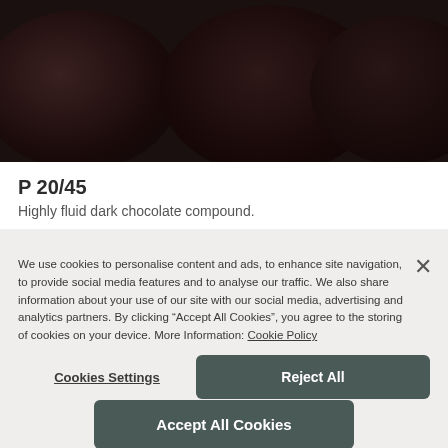[Figure (photo): Dark chocolate compound rounds/discs viewed from above, very dark brown/black color on dark background]
P 20/45
Highly fluid dark chocolate compound.
We use cookies to personalise content and ads, to enhance site navigation, to provide social media features and to analyse our traffic. We also share information about your use of our site with our social media, advertising and analytics partners. By clicking “Accept All Cookies”, you agree to the storing of cookies on your device. More Information: Cookie Policy
Cookies Settings
Reject All
Accept All Cookies